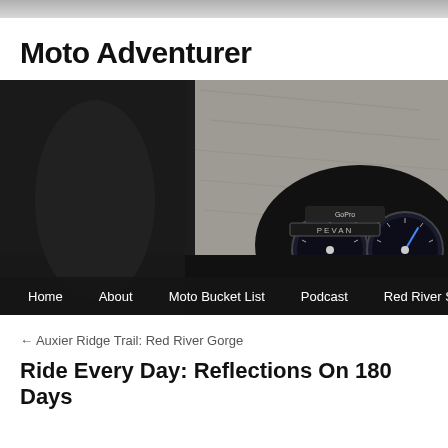Moto Adventurer
[Figure (photo): Motorcycle dashboard view from rider's perspective showing speedometer and tachometer gauges with a GoPro camera mounted. Navigation menu bar at bottom with links: Home, About, Moto Bucket List, Podcast, Red River Scramble]
← Auxier Ridge Trail: Red River Gorge
Ride Every Day: Reflections On 180 Days